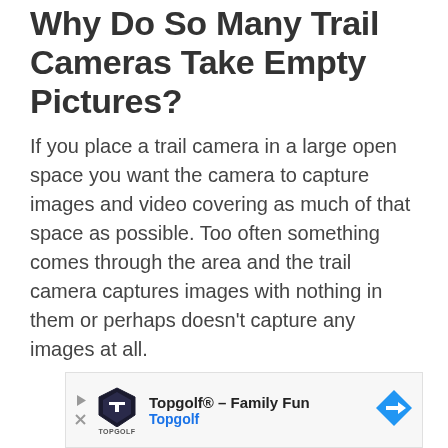Why Do So Many Trail Cameras Take Empty Pictures?
If you place a trail camera in a large open space you want the camera to capture images and video covering as much of that space as possible. Too often something comes through the area and the trail camera captures images with nothing in them or perhaps doesn't capture any images at all.
[Figure (other): Advertisement banner for Topgolf - Family Fun, showing Topgolf logo with play and close buttons, and a blue navigation arrow icon on the right.]